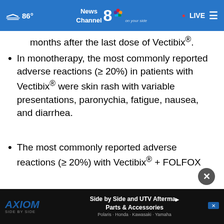86° News Channel 8 on your side · LIVE
months after the last dose of Vectibix®.
In monotherapy, the most commonly reported adverse reactions (≥ 20%) in patients with Vectibix® were skin rash with variable presentations, paronychia, fatigue, nausea, and diarrhea.
The most commonly reported adverse reactions (≥ 20%) with Vectibix® + FOLFOX were diarrhea, stomatitis, mucosa…
[Figure (screenshot): Axiom Side by Side advertisement banner — 'Side by Side and UTV Aftermarket Parts & Accessories, Polaris · Honda · Kawasaki · Yamaha']